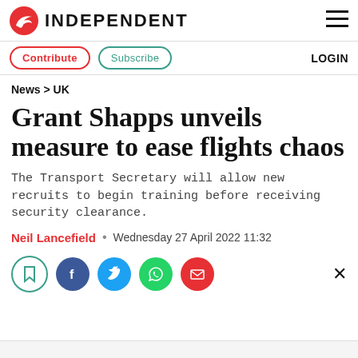INDEPENDENT
Contribute  Subscribe  LOGIN
News > UK
Grant Shapps unveils measure to ease flights chaos
The Transport Secretary will allow new recruits to begin training before receiving security clearance.
Neil Lancefield • Wednesday 27 April 2022 11:32